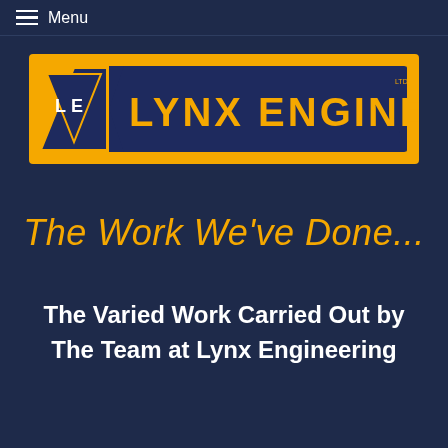Menu
[Figure (logo): Lynx Engineering logo: gold/yellow banner with dark blue triangle marked 'LE' on the left, and bold text 'LYNX ENGINEERING' in gold letters on dark blue background]
The Work We've Done...
The Varied Work Carried Out by The Team at Lynx Engineering